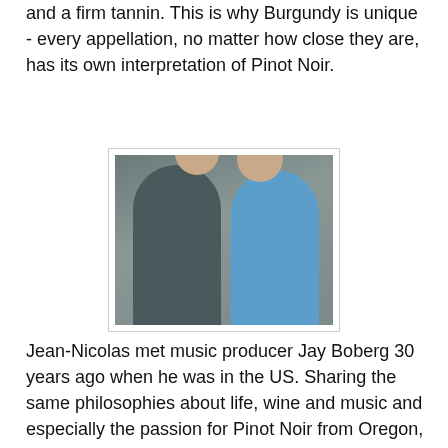and a firm tannin. This is why Burgundy is unique - every appellation, no matter how close they are, has its own interpretation of Pinot Noir.
[Figure (photo): Two men smiling, standing in front of a wooden wall. Left man wearing a grey t-shirt, right man wearing a light blue polo shirt.]
Jean-Nicolas met music producer Jay Boberg 30 years ago when he was in the US. Sharing the same philosophies about life, wine and music and especially the passion for Pinot Noir from Oregon, the pair eventually founded Nicolas-Jay in 2013. Jean-Nicolas was excited to take what he learnt from Burgundy to a new region with different climate and soil.
Unlike Burgundy, Oregon has a wet spring but dry summer. There are also differences in the soil, clay, and volcanic...